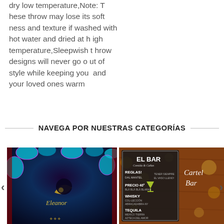dry low temperature,Note: These throw may lose its softness and texture if washed with hot water and dried at high temperature,Sleepwish throw designs will never go out of style while keeping you and your loved ones warm
NAVEGA POR NUESTRAS CATEGORÍAS
[Figure (photo): Colorful boho mandala curtain with crescent moon gold design, vibrant blue and purple floral patterns on dark background]
[Figure (photo): El Bar menu board with cocktail listings on dark chalkboard background, with 'Cartel Bar' text overlay, warm bokeh lights in background]